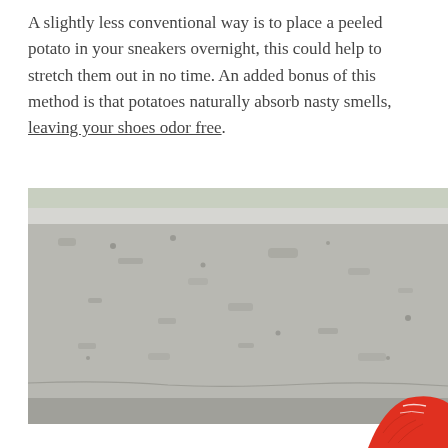A slightly less conventional way is to place a peeled potato in your sneakers overnight, this could help to stretch them out in no time. An added bonus of this method is that potatoes naturally absorb nasty smells, leaving your shoes odor free.
[Figure (photo): Close-up photo of a worn concrete step or ledge, with a red sneaker visible in the bottom-right corner against the textured grey concrete surface.]